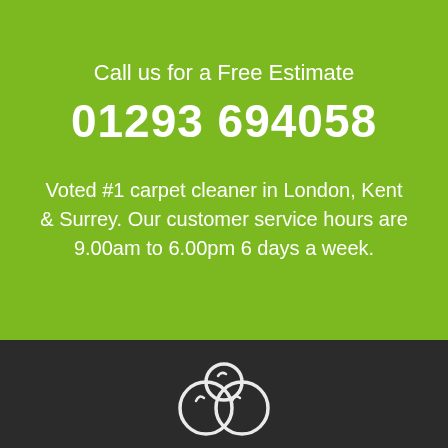Call us for a Free Estimate
01293 694058
Voted #1 carpet cleaner in London, Kent & Surrey. Our customer service hours are 9.00am to 6.00pm 6 days a week.
[Figure (logo): White carpet cleaning service logo icon on dark background]